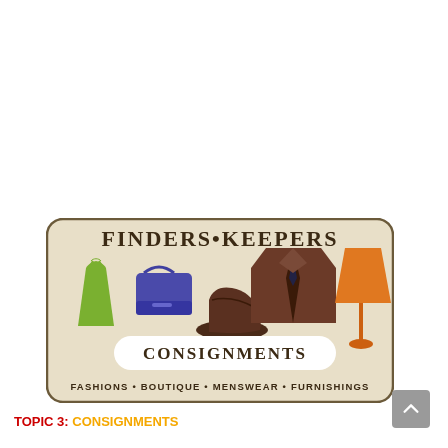[Figure (logo): Finders Keepers Consignments logo. Beige rounded rectangle with brown border. Text 'FINDERS·KEEPERS' at top in serif font. Icons: green dress, purple handbag, brown shoe, brown men's jacket with tie, orange lamp. White oval banner reading 'CONSIGNMENTS'. Bottom text: 'FASHIONS • BOUTIQUE • MENSWEAR • FURNISHINGS'.]
TOPIC 3: CONSIGNMENTS